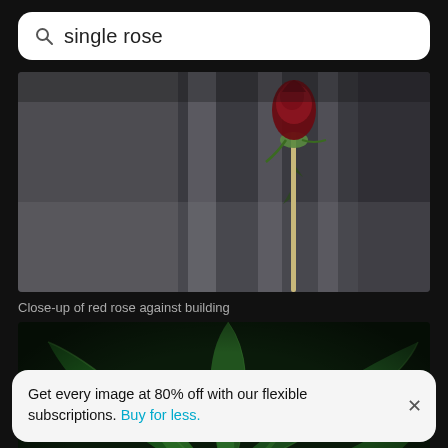single rose
[Figure (photo): Close-up of a single red rose bud on a stem against a blurred building background]
Close-up of red rose against building
[Figure (photo): Close-up of a green succulent plant viewed from above showing spiral leaf pattern]
Get every image at 80% off with our flexible subscriptions. Buy for less.